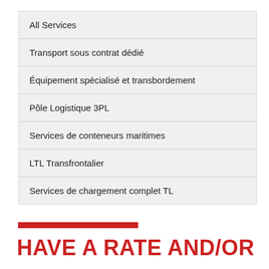All Services
Transport sous contrat dédié
Équipement spécialisé et transbordement
Pôle Logistique 3PL
Services de conteneurs maritimes
LTL Transfrontalier
Services de chargement complet TL
HAVE A RATE AND/OR